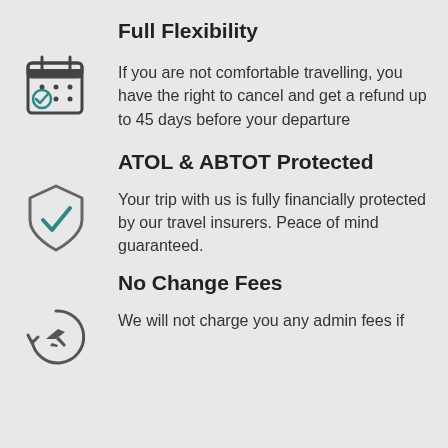Full Flexibility
[Figure (illustration): Calendar icon with a checkmark, outline style]
If you are not comfortable travelling, you have the right to cancel and get a refund up to 45 days before your departure
ATOL & ABTOT Protected
[Figure (illustration): Shield with a teal checkmark icon, outline style]
Your trip with us is fully financially protected by our travel insurers. Peace of mind guaranteed.
No Change Fees
[Figure (illustration): Airplane inside a circular arrow icon, outline style]
We will not charge you any admin fees if